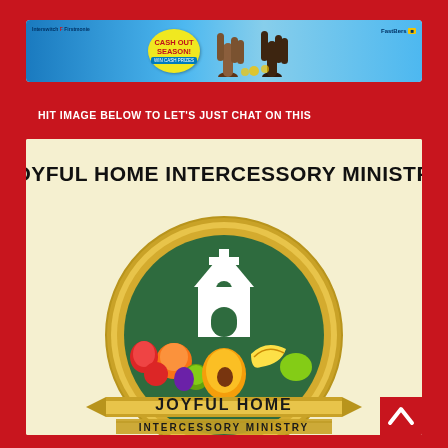[Figure (screenshot): Advertisement banner showing 'Cash Out Season!' with hands raised, First Bank logo and FastBers branding on a blue gradient background]
HIT IMAGE BELOW TO LET'S JUST CHAT ON THIS
[Figure (logo): Joyful Home Intercessory Ministry logo showing a church silhouette in a green circle with gold border, surrounded by fruits, with 'JOYFUL HOME' and 'INTERCESSORY MINISTRY' text on gold ribbon banners, set against a cream background. Black bold text at top reads 'JOYFUL HOME INTERCESSORY MINISTRY'.]